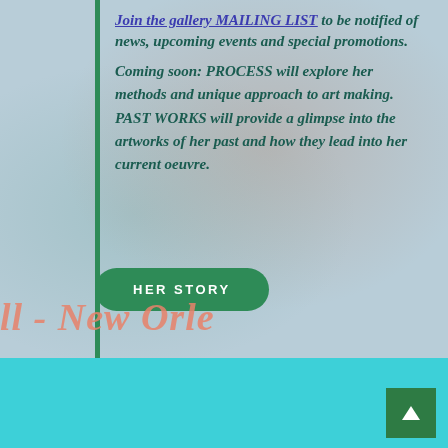Join the gallery MAILING LIST to be notified of news, upcoming events and special promotions. Coming soon: PROCESS will explore her methods and unique approach to art making. PAST WORKS will provide a glimpse into the artworks of her past and how they lead into her current oeuvre.
[Figure (other): Green 'HER STORY' rounded button on painterly background]
ll - New Orle
[Figure (other): Scroll-up arrow button in dark green square, on cyan/teal footer]